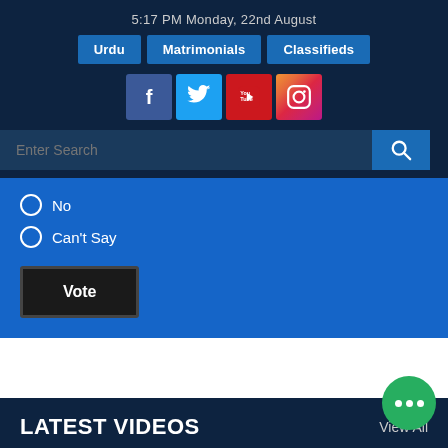5:17 PM Monday, 22nd August
Urdu
Matrimonials
Classifieds
[Figure (other): Social media icons: Facebook, Twitter, YouTube, Instagram]
Enter Search
No
Can't Say
Vote
LATEST VIDEOS
View All
[Figure (photo): Video thumbnail showing red flags in a snowy or wintry scene]